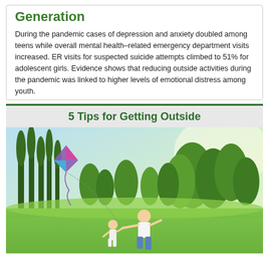Generation
During the pandemic cases of depression and anxiety doubled among teens while overall mental health–related emergency department visits increased. ER visits for suspected suicide attempts climbed to 51% for adolescent girls. Evidence shows that reducing outside activities during the pandemic was linked to higher levels of emotional distress among youth.
5 Tips for Getting Outside
[Figure (photo): A parent and young child running in an open grassy field flying a colorful kite, with tall green trees in the background under a bright sky.]